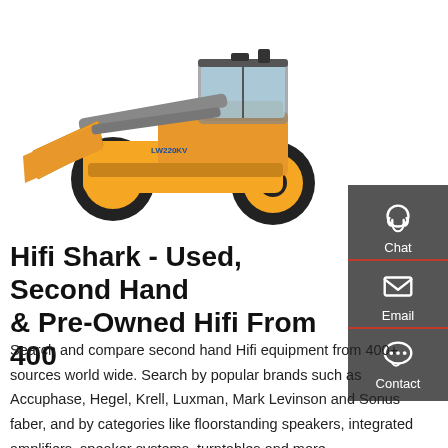[Figure (photo): Yellow front-loader / wheel loader construction machine (LW220KV) on white background, facing right with bucket raised]
Hifi Shark - Used, Second Hand & Pre-Owned Hifi From 400
Search and compare second hand Hifi equipment from 400+ sources world wide. Search by popular brands such as Accuphase, Hegel, Krell, Luxman, Mark Levinson and Sonus faber, and by categories like floorstanding speakers, integrated amplifiers, speaker systems, turntables and more.